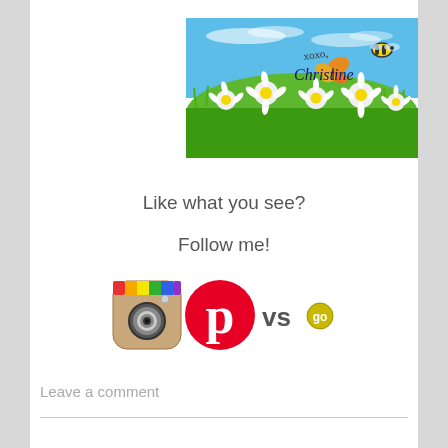[Figure (illustration): Signature image with daisy flower field background, blue sky, bumble bee, butterfly, and cursive text 'xoxo, Christine']
Like what you see?
Follow me!
[Figure (logo): Instagram camera logo, Pinterest 'p' logo in red circle, and 'vs' text with small circular logo]
Leave a comment